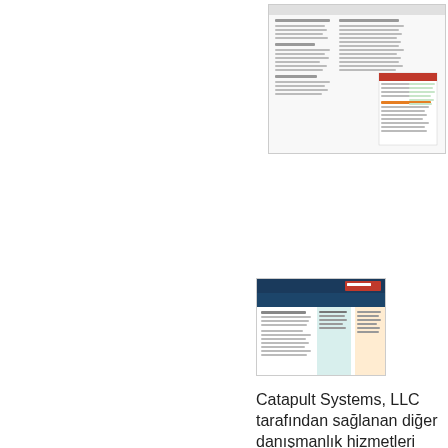[Figure (screenshot): Screenshot of a document page showing two-column layout with text and an inset page preview in the upper right area]
[Figure (screenshot): Screenshot of a document page with a dark blue header image, logo, and two-column layout with text and a teal/orange accent column]
Catapult Systems, LLC tarafından sağlanan diğer danışmanlık hizmetleri